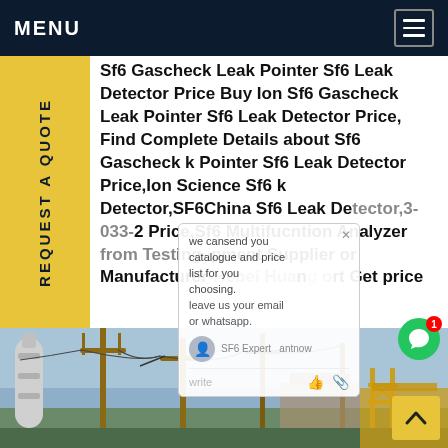MENU
Sf6 Gascheck Leak Pointer Sf6 Leak Detector Price Buy Ion Sf6 Gascheck Leak Pointer Sf6 Leak Detector Price, Find Complete Details about Sf6 Gascheck k Pointer Sf6 Leak Detector Price,Ion Science Sf6 k Detector,SF6China Sf6 Leak Detector,3-033-2 Price,Sf6 Multifucntion Analyzer from Testing ipment Supplier or Manufacturer-Hebei Huan ort Get price
[Figure (photo): Electrical substation with high-voltage equipment, insulators, poles and transmission lines under a blue sky]
REQUEST A QUOTE
we cansend you catalogue and price list for you choosing. leave us your email or whatsapp.
SF6 Expert  antnow
write